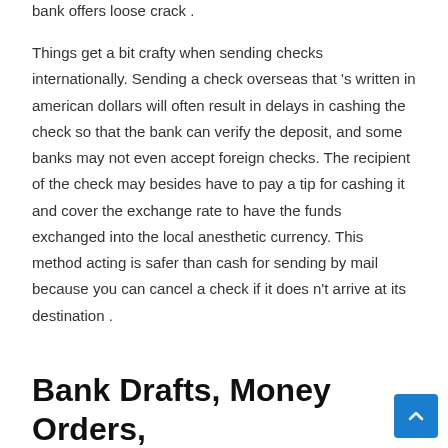bank offers loose crack .
Things get a bit crafty when sending checks internationally. Sending a check overseas that 's written in american dollars will often result in delays in cashing the check so that the bank can verify the deposit, and some banks may not even accept foreign checks. The recipient of the check may besides have to pay a tip for cashing it and cover the exchange rate to have the funds exchanged into the local anesthetic currency. This method acting is safer than cash for sending by mail because you can cancel a check if it does n't arrive at its destination .
Bank Drafts, Money Orders,